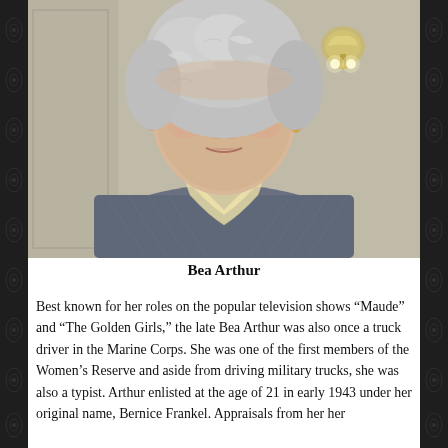[Figure (photo): Portrait photo of Bea Arthur, an older woman with short curly grey hair, wearing a light yellow scarf and a patterned top, seated indoors with a wall sconce visible in the background.]
Bea Arthur
Best known for her roles on the popular television shows “Maude” and “The Golden Girls,” the late Bea Arthur was also once a truck driver in the Marine Corps. She was one of the first members of the Women’s Reserve and aside from driving military trucks, she was also a typist. Arthur enlisted at the age of 21 in early 1943 under her original name, Bernice Frankel. Appraisals from her her